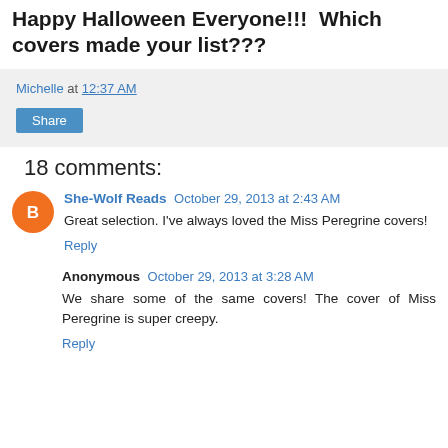Happy Halloween Everyone!!!  Which covers made your list???
Michelle at 12:37 AM
Share
18 comments:
She-Wolf Reads  October 29, 2013 at 2:43 AM
Great selection. I've always loved the Miss Peregrine covers!
Reply
Anonymous  October 29, 2013 at 3:28 AM
We share some of the same covers! The cover of Miss Peregrine is super creepy.
Reply